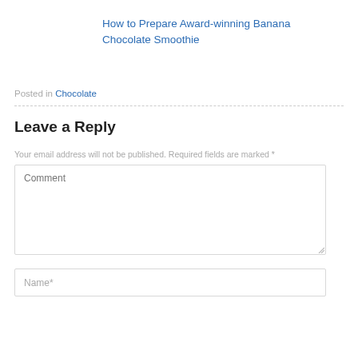How to Prepare Award-winning Banana Chocolate Smoothie
Posted in Chocolate
Leave a Reply
Your email address will not be published. Required fields are marked *
Comment
Name*